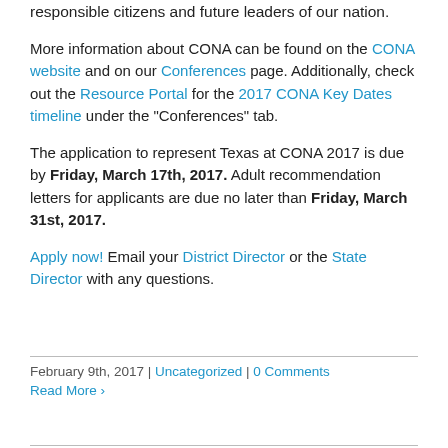responsible citizens and future leaders of our nation.
More information about CONA can be found on the CONA website and on our Conferences page. Additionally, check out the Resource Portal for the 2017 CONA Key Dates timeline under the "Conferences" tab.
The application to represent Texas at CONA 2017 is due by Friday, March 17th, 2017. Adult recommendation letters for applicants are due no later than Friday, March 31st, 2017.
Apply now! Email your District Director or the State Director with any questions.
February 9th, 2017 | Uncategorized | 0 Comments
Read More >